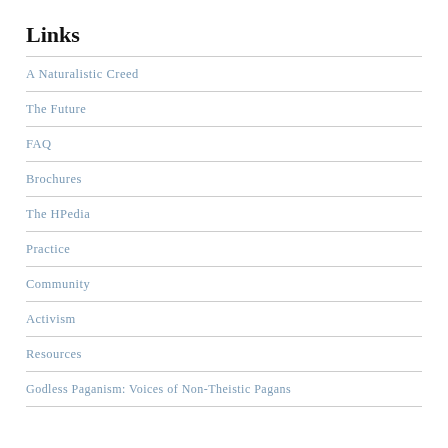Links
A Naturalistic Creed
The Future
FAQ
Brochures
The HPedia
Practice
Community
Activism
Resources
Godless Paganism: Voices of Non-Theistic Pagans